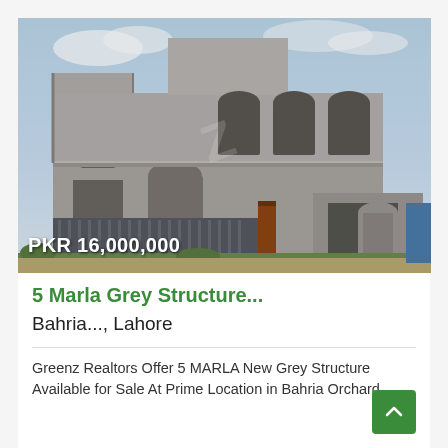[Figure (photo): Under-construction grey structure two-storey house with arched windows and a gate, sky in background. Price overlay: PKR 16,000,000]
5 Marla Grey Structure...
Bahria..., Lahore
Greenz Realtors Offer 5 MARLA New Grey Structure Available for Sale At Prime Location in Bahria Orchard